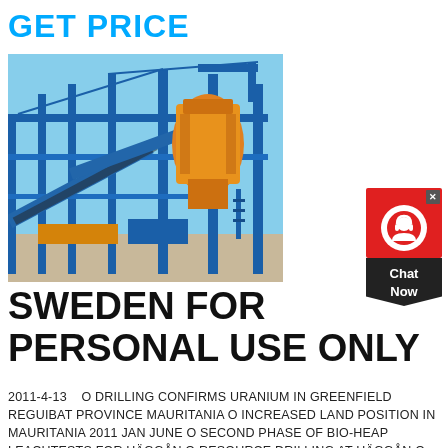GET PRICE
[Figure (photo): Industrial mining/crushing equipment with blue steel frame structure, conveyor belts, and orange crushing machinery at an outdoor facility]
[Figure (other): Red chat widget with headset icon and 'Chat Now' label on dark background]
SWEDEN FOR PERSONAL USE ONLY
2011-4-13    O DRILLING CONFIRMS URANIUM IN GREENFIELD REGUIBAT PROVINCE MAURITANIA O INCREASED LAND POSITION IN MAURITANIA 2011 JAN JUNE O SECOND PHASE OF BIO-HEAP LEACHTESTS FOR HÄGGÅN O RESOURCE DRILLING AT HÄGGÅN O DRILLING NEW KALLSEDET PROJECT IN SWEDEN O